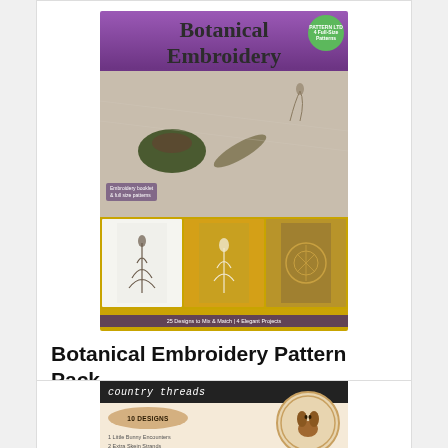[Figure (photo): Book cover of 'Botanical Embroidery' by Brian Haggard showing embroidery scenes and projects]
Botanical Embroidery Pattern Pack
$38.95
Add to Cart
[Figure (photo): Country Threads embroidery pattern pack with circular logo featuring a character and brand name header]